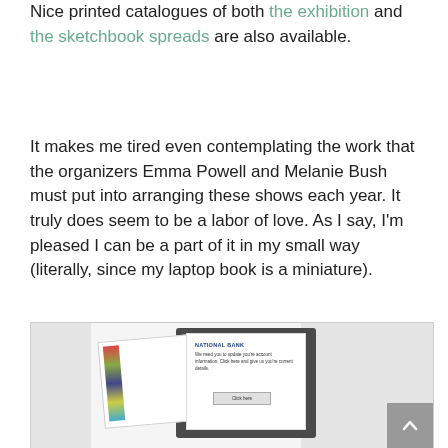Nice printed catalogues of both the exhibition and the sketchbook spreads are also available.
It makes me tired even contemplating the work that the organizers Emma Powell and Melanie Bush must put into arranging these shows each year. It truly does seem to be a labor of love. As I say, I'm pleased I can be a part of it in my small way (literally, since my laptop book is a miniature).
[Figure (photo): Photo of a miniature laptop-shaped book displayed in a dark frame/stand, with open pages showing a 'National Bank' phishing email mockup with text 'We need you to update your account information. Click here and give us your current details.' and a Click here button. Colorful photo strips visible on the left page.]